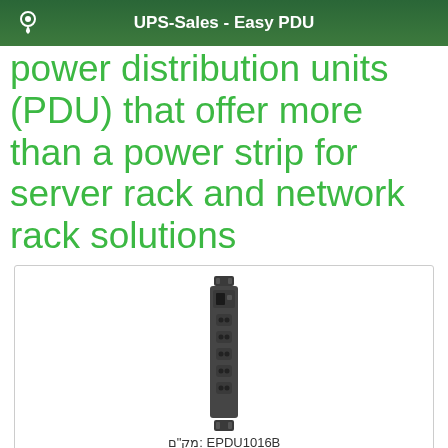UPS-Sales - Easy PDU
power distribution units (PDU) that offer more than a power strip for server rack and network rack solutions
[Figure (photo): Product photo of a rack-mounted PDU unit (EPDU1016B), shown vertically oriented, dark/charcoal colored with multiple C13 outlets]
מק"ם: EPDU1016B
EPDU1016B Easy PDU, Basic, 1U, 16A, 230V, (8)C13